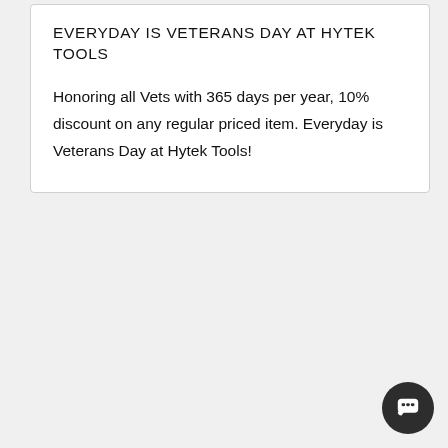EVERYDAY IS VETERANS DAY AT HYTEK TOOLS
Honoring all Vets with 365 days per year, 10% discount on any regular priced item. Everyday is Veterans Day at Hytek Tools!
[Figure (other): Dark circular chat button icon in bottom-right corner]